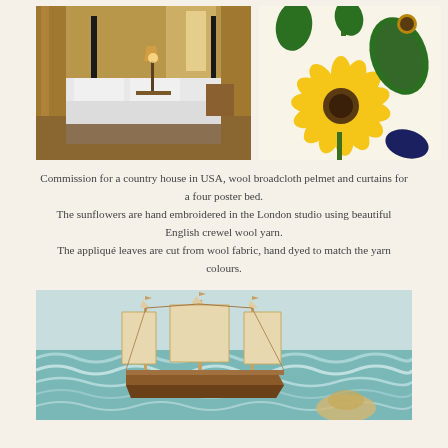[Figure (photo): Bedroom with a four poster bed with white linens and curtains, warm lighting from bedside lamp]
[Figure (photo): Close-up of hand embroidered sunflowers with appliqué leaves on wool broadcloth fabric]
Commission for a country house in USA, wool broadcloth pelmet and curtains for a four poster bed. The sunflowers are hand embroidered in the London studio using beautiful English crewel wool yarn. The appliqué leaves are cut from wool fabric, hand dyed to match the yarn colours.
[Figure (photo): Hand embroidered sailing ship on ocean waves textile artwork]